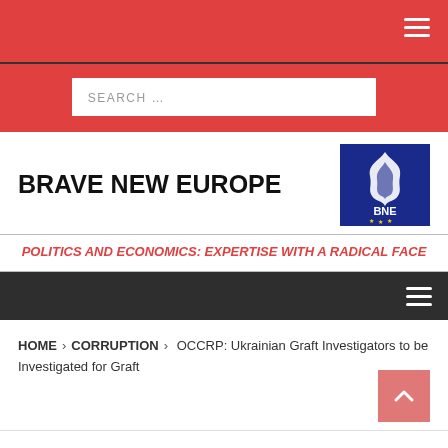[Figure (screenshot): Search bar with placeholder text SEARCH ...]
BRAVE NEW EUROPE
[Figure (logo): BNE logo - blue background with white flame and text BNE braveneweurope.com with stars]
POLITICS AND ECONOMICS: EXPERTISE WITH A RADICAL FACE
HOME > CORRUPTION > OCCRP: Ukrainian Graft Investigators to be Investigated for Graft
OCCRP: Ukrainian Graft